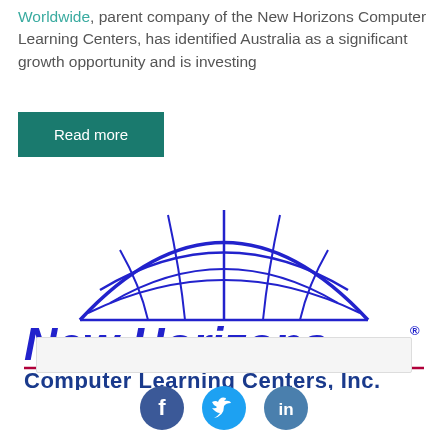Worldwide, parent company of the New Horizons Computer Learning Centers, has identified Australia as a significant growth opportunity and is investing
[Figure (logo): New Horizons Computer Learning Centers, Inc. logo — blue globe/grid hemisphere above the text 'New Horizons' in large blue italic font with registered trademark symbol, a red horizontal rule, and 'Computer Learning Centers, Inc.' in blue below]
[Figure (other): Social media icons row: Facebook (dark blue circle with f), Twitter (light blue circle with bird), LinkedIn (steel blue circle with in)]